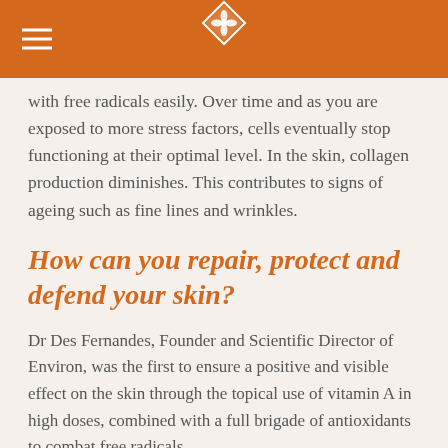[logo header with hamburger menu and diamond logo]
with free radicals easily. Over time and as you are exposed to more stress factors, cells eventually stop functioning at their optimal level. In the skin, collagen production diminishes. This contributes to signs of ageing such as fine lines and wrinkles.
How can you repair, protect and defend your skin?
Dr Des Fernandes, Founder and Scientific Director of Environ, was the first to ensure a positive and visible effect on the skin through the topical use of vitamin A in high doses, combined with a full brigade of antioxidants to combat free radicals.